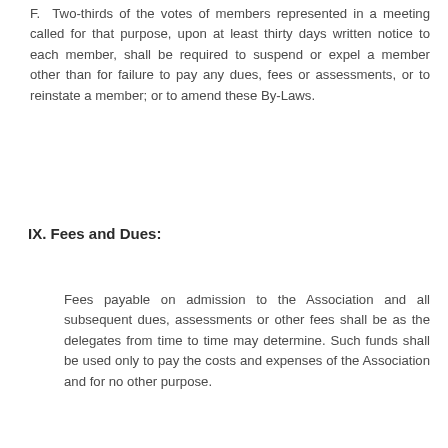F. Two-thirds of the votes of members represented in a meeting called for that purpose, upon at least thirty days written notice to each member, shall be required to suspend or expel a member other than for failure to pay any dues, fees or assessments, or to reinstate a member; or to amend these By-Laws.
IX. Fees and Dues:
Fees payable on admission to the Association and all subsequent dues, assessments or other fees shall be as the delegates from time to time may determine. Such funds shall be used only to pay the costs and expenses of the Association and for no other purpose.